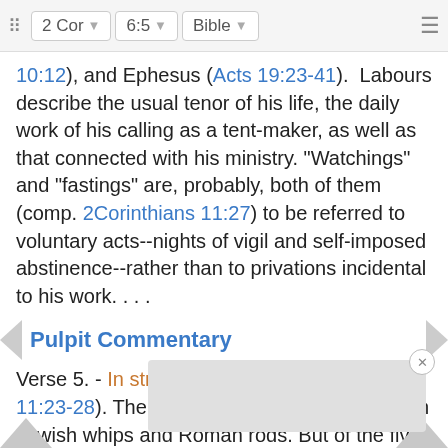2 Cor  6:5  Bible
10:12), and Ephesus (Acts 19:23-41).  Labours describe the usual tenor of his life, the daily work of his calling as a tent-maker, as well as that connected with his ministry. "Watchings" and "fastings" are, probably, both of them (comp. 2Corinthians 11:27) to be referred to voluntary acts--nights of vigil and self-imposed abstinence--rather than to privations incidental to his work. . . .
Pulpit Commentary
Verse 5. - In stripes (comp. 2 Corinthians 11:23-28). The stripes were of two kinds - from Jewish whips and Roman rods. But of the five scourgings with Jewish whips not one is mentioned in the Acts, and only one of the three scourgings with Roman rods (Acts ... man that th... ry and it... rom